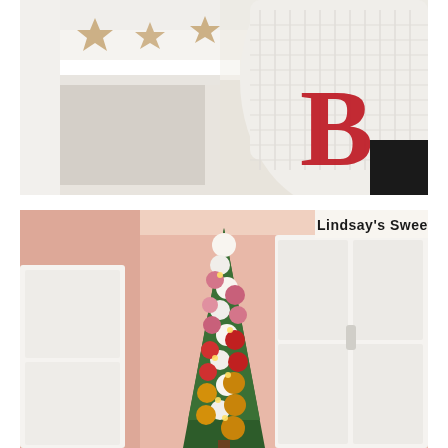[Figure (photo): Close-up photo of a white knitted Christmas stocking with a large red letter 'B' monogram, hanging near a staircase railing. Star-shaped paper garland decorations are visible in the upper left background against white walls.]
[Figure (photo): Photo of a slim/pencil Christmas tree decorated with pink, red, and gold/orange ornament balls and white pom-pom garland with lights, standing in a room with peach/pink walls, white doors, and a partial sign reading "Lindsay's Sweet" visible above.]